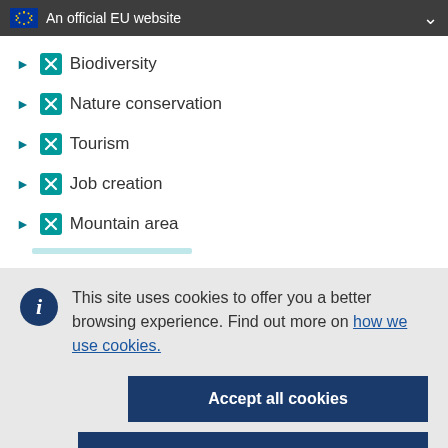An official EU website
Biodiversity
Nature conservation
Tourism
Job creation
Mountain area
This site uses cookies to offer you a better browsing experience. Find out more on how we use cookies.
Accept all cookies
Accept only essential cookies